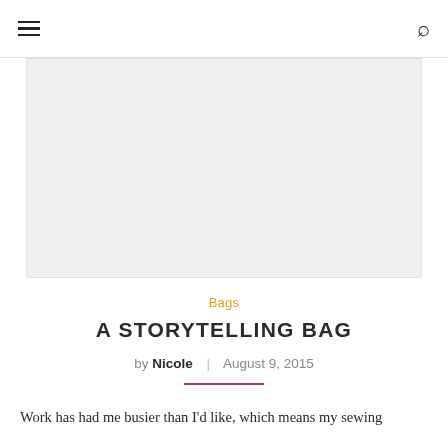≡  🔍
[Figure (photo): Large hero image placeholder with light gray background, representing a blog post feature image.]
Bags
A STORYTELLING BAG
by Nicole  |  August 9, 2015
Work has been busier than I'd like, which means my sewing